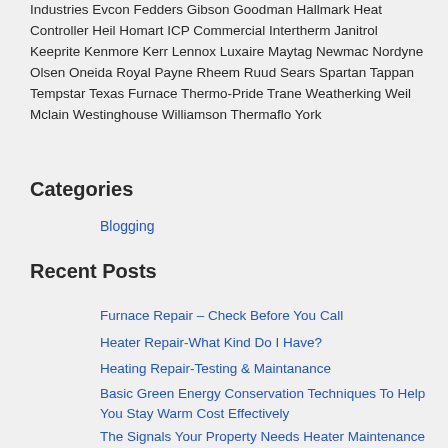Industries Evcon Fedders Gibson Goodman Hallmark Heat Controller Heil Homart ICP Commercial Intertherm Janitrol Keeprite Kenmore Kerr Lennox Luxaire Maytag Newmac Nordyne Olsen Oneida Royal Payne Rheem Ruud Sears Spartan Tappan Tempstar Texas Furnace Thermo-Pride Trane Weatherking Weil Mclain Westinghouse Williamson Thermaflo York
Categories
Blogging
Recent Posts
Furnace Repair – Check Before You Call
Heater Repair-What Kind Do I Have?
Heating Repair-Testing & Maintanance
Basic Green Energy Conservation Techniques To Help You Stay Warm Cost Effectively
The Signals Your Property Needs Heater Maintenance